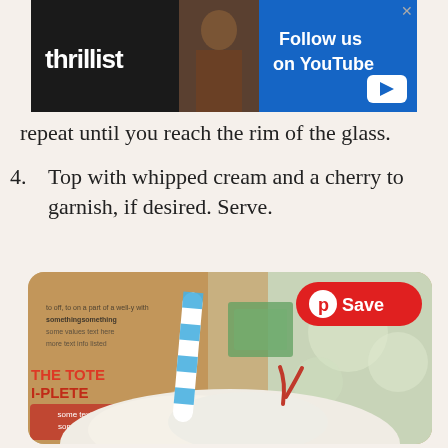[Figure (screenshot): Thrillist advertisement banner with 'Follow us on YouTube' text, logo, and Play button]
repeat until you reach the rim of the glass.
4. Top with whipped cream and a cherry to garnish, if desired. Serve.
[Figure (photo): Photo of a milkshake with whipped cream, a blue and white striped straw, and a red cherry garnish, with product boxes in the background. A red Pinterest Save button is overlaid in the top right.]